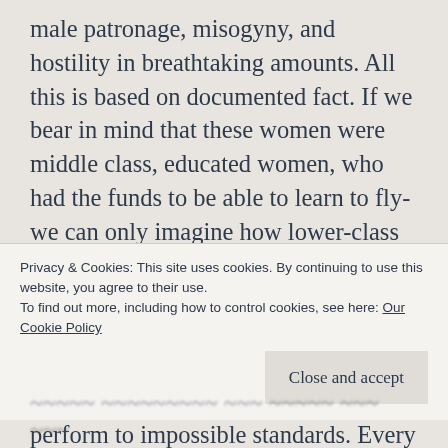male patronage, misogyny, and hostility in breathtaking amounts. All this is based on documented fact. If we bear in mind that these women were middle class, educated women, who had the funds to be able to learn to fly- we can only imagine how lower-class women were treated. To still undertake the jobs given to them, to fly in freezing conditions in an open cockpit plane. To smile, to boost male morale, to be treated so poorly and expected to perform to impossible standards. Every single
Privacy & Cookies: This site uses cookies. By continuing to use this website, you agree to their use.
To find out more, including how to control cookies, see here: Our Cookie Policy
Close and accept